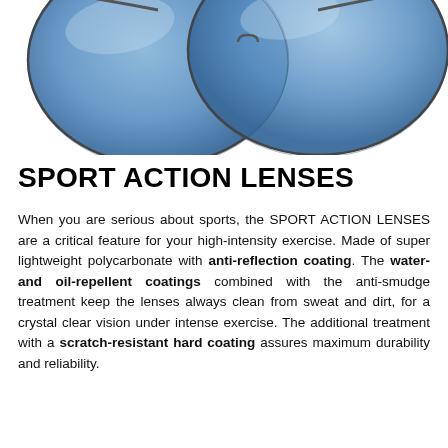[Figure (photo): Close-up photo of sport sunglasses with blue-tinted lenses, partially cropped at top of page, shot from above on white background.]
SPORT ACTION LENSES
When you are serious about sports, the SPORT ACTION LENSES are a critical feature for your high-intensity exercise. Made of super lightweight polycarbonate with anti-reflection coating. The water- and oil-repellent coatings combined with the anti-smudge treatment keep the lenses always clean from sweat and dirt, for a crystal clear vision under intense exercise. The additional treatment with a scratch-resistant hard coating assures maximum durability and reliability.